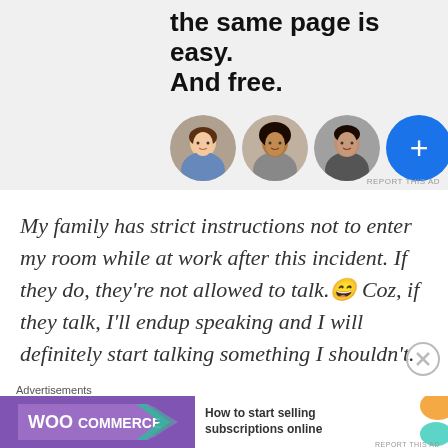[Figure (screenshot): Advertisement banner with dark text 'the same page is easy. And free.' and three circular avatar photos plus a blue circle with a plus sign]
My family has strict instructions not to enter my room while at work after this incident. If they do, they're not allowed to talk. 😄 Coz, if they talk, I'll endup speaking and I will definitely start talking something I shouldn't.
Advertisements
[Figure (screenshot): WooCommerce advertisement banner: 'How to start selling subscriptions online']